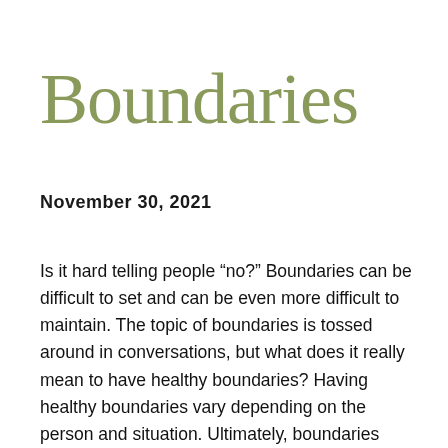Boundaries
November 30, 2021
Is it hard telling people “no?” Boundaries can be difficult to set and can be even more difficult to maintain. The topic of boundaries is tossed around in conversations, but what does it really mean to have healthy boundaries? Having healthy boundaries vary depending on the person and situation. Ultimately, boundaries focus on the individual’s needs, time, and priorities, and they are set through communication. Having healthy boundaries can set a person up for success in various areas of their life.  Learn how to